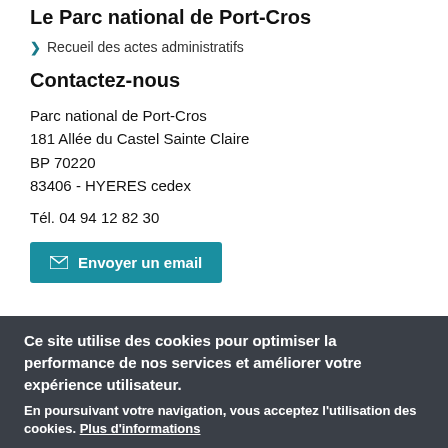Le Parc national de Port-Cros
Recueil des actes administratifs
Contactez-nous
Parc national de Port-Cros
181 Allée du Castel Sainte Claire
BP 70220
83406 - HYERES cedex
Tél. 04 94 12 82 30
Envoyer un email
Visit the National Park
Challenges and Research
Discover the National Park
Ce site utilise des cookies pour optimiser la performance de nos services et améliorer votre expérience utilisateur.
En poursuivant votre navigation, vous acceptez l'utilisation des cookies. Plus d'informations